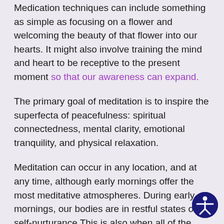Medication techniques can include something as simple as focusing on a flower and welcoming the beauty of that flower into our hearts. It might also involve training the mind and heart to be receptive to the present moment so that our awareness can expand.
The primary goal of meditation is to inspire the superfecta of peacefulness: spiritual connectedness, mental clarity, emotional tranquility, and physical relaxation.
Meditation can occur in any location, and at any time, although early mornings offer the most meditative atmospheres. During early mornings, our bodies are in restful states of self-nurturance This is also when all of the usual societal energies are dormant. Many monks arise at 3 am and meditate until 6 am.